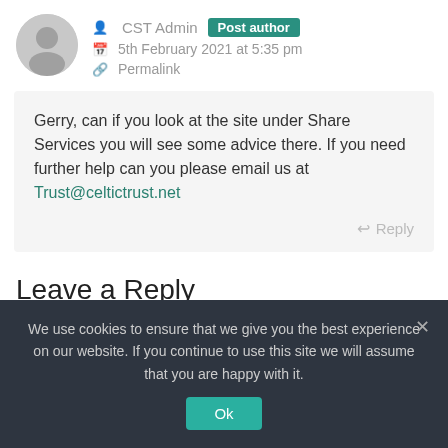CST Admin  Post author
5th February 2021 at 5:35 pm
Permalink
Gerry, can if you look at the site under Share Services you will see some advice there. If you need further help can you please email us at Trust@celtictrust.net
Reply
Leave a Reply
We use cookies to ensure that we give you the best experience on our website. If you continue to use this site we will assume that you are happy with it.
Ok